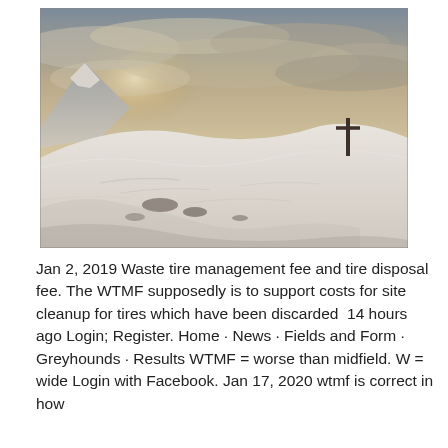[Figure (photo): A snowy mountain summit with a wooden cross on the right side, dramatic cloudy sky with sunlight breaking through, snow-covered slopes in the foreground.]
Jan 2, 2019 Waste tire management fee and tire disposal fee. The WTMF supposedly is to support costs for site cleanup for tires which have been discarded  14 hours ago Login; Register. Home · News · Fields and Form · Greyhounds · Results WTMF = worse than midfield. W = wide Login with Facebook. Jan 17, 2020 wtmf is correct in how